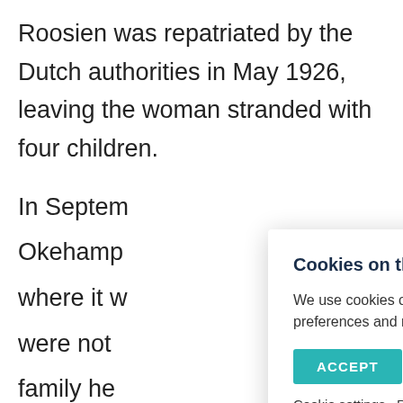Roosien was repatriated by the Dutch authorities in May 1926, leaving the woman stranded with four children.
In Septen[...] Okehampt[...] where it w[...] were not [...] family he[...] which stil[...] found nea[...] on the outskirts of the town.
Cookies on the Telling Our Stories Finding Our Roots Devon website
We use cookies on our website to give you the most relevant experience by remembering your preferences and repeat visits. By clicking "Accept", you consent to the use of ALL the cookies.
ACCEPT
Cookie settings   Read More